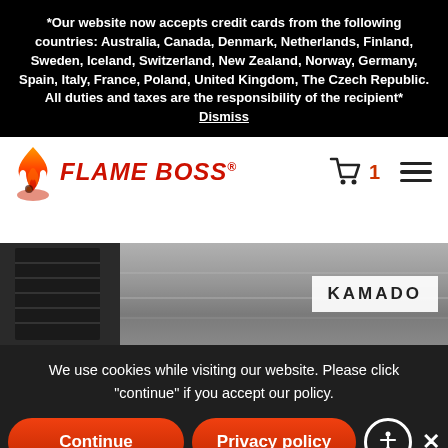*Our website now accepts credit cards from the following countries: Australia, Canada, Denmark, Netherlands, Finland, Sweden, Iceland, Switzerland, New Zealand, Norway, Germany, Spain, Italy, France, Poland, United Kingdom, The Czech Republic. All duties and taxes are the responsibility of the recipient*
Dismiss
[Figure (logo): Flame Boss logo with flame icon and red italic bold text 'FLAME BOSS' with registered trademark symbol]
[Figure (screenshot): Shopping cart icon with number 1 and hamburger menu icon]
[Figure (photo): Close-up photo of grill grates, dark and metallic surfaces with KAMADO label overlay]
We use cookies while visiting our website. Please click "continue" if you accept our policy.
Continue
Privacy policy